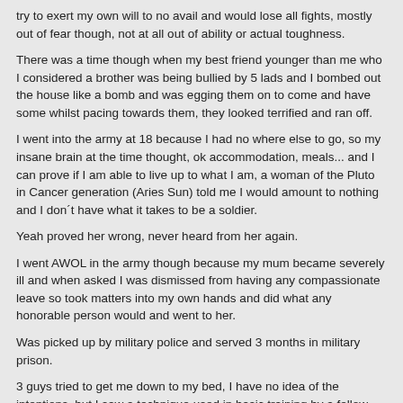try to exert my own will to no avail and would lose all fights, mostly out of fear though, not at all out of ability or actual toughness.
There was a time though when my best friend younger than me who I considered a brother was being bullied by 5 lads and I bombed out the house like a bomb and was egging them on to come and have some whilst pacing towards them, they looked terrified and ran off.
I went into the army at 18 because I had no where else to go, so my insane brain at the time thought, ok accommodation, meals... and I can prove if I am able to live up to what I am, a woman of the Pluto in Cancer generation (Aries Sun) told me I would amount to nothing and I don´t have what it takes to be a soldier.
Yeah proved her wrong, never heard from her again.
I went AWOL in the army though because my mum became severely ill and when asked I was dismissed from having any compassionate leave so took matters into my own hands and did what any honorable person would and went to her.
Was picked up by military police and served 3 months in military prison.
3 guys tried to get me down to my bed, I have no idea of the intentions, but I saw a technique used in basic training by a fellow recruit who was a semi-pro rugby player and applied it here, I used purely my legs and core muscles to